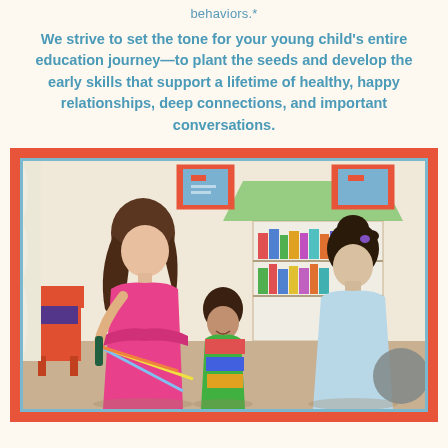behaviors.*
We strive to set the tone for your young child's entire education journey—to plant the seeds and develop the early skills that support a lifetime of healthy, happy relationships, deep connections, and important conversations.
[Figure (photo): Three young girls playing together in a colorful classroom setting. One girl in a pink dress holds colorful ribbons, another child sits looking up, and a third child in a light blue outfit stands with back to camera. A bookshelf with colorful books and framed artwork on the wall are visible in the background.]